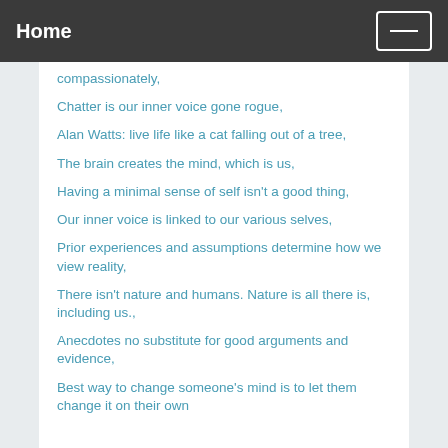Home
compassionately,
Chatter is our inner voice gone rogue,
Alan Watts: live life like a cat falling out of a tree,
The brain creates the mind, which is us,
Having a minimal sense of self isn't a good thing,
Our inner voice is linked to our various selves,
Prior experiences and assumptions determine how we view reality,
There isn't nature and humans. Nature is all there is, including us.,
Anecdotes no substitute for good arguments and evidence,
Best way to change someone's mind is to let them change it on their own